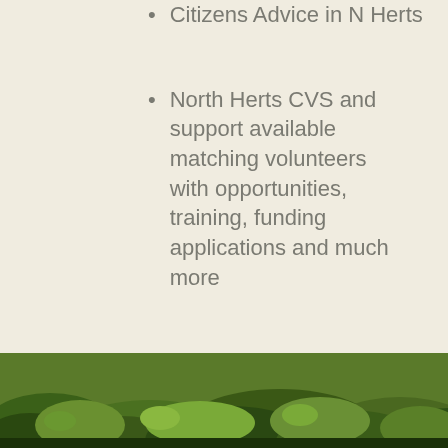Citizens Advice in N Herts
North Herts CVS and support available matching volunteers with opportunities, training, funding applications and much more
Intergenerational Project taking the elderly for activity sessions in primary schools
Hitchin Peace Garden project, created by the Hitchin Quakers
[Figure (photo): Outdoor garden or nature photo showing green foliage and plants at the bottom of the page]